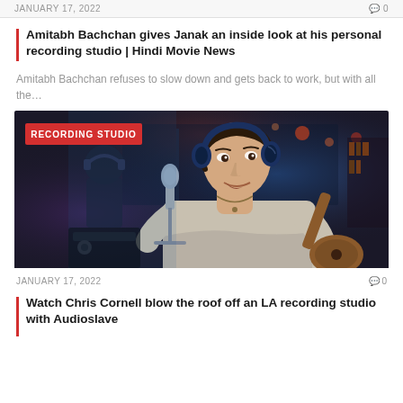JANUARY 17, 2022  0
Amitabh Bachchan gives Janak an inside look at his personal recording studio | Hindi Movie News
Amitabh Bachchan refuses to slow down and gets back to work, but with all the…
[Figure (photo): Person singing into a microphone while playing guitar in a recording studio, wearing headphones, blue dramatic lighting. Tag badge reads RECORDING STUDIO.]
JANUARY 17, 2022  0
Watch Chris Cornell blow the roof off an LA recording studio with Audioslave